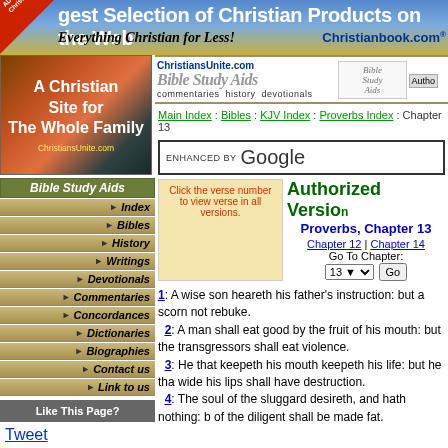gest Selection of Christian Products on the Web - Everything Christian for Less! Christianbook.com
[Figure (screenshot): A Christian Site for The Whole Family - ChristiansUnite.com sidebar image]
Bible Study Aids
Index
Bibles
History
Writings
Devotionals
Commentaries
Concordances
Dictionaries
Biographies
Contact us
Link to us
Like This Page?
Tweet
[Figure (logo): ChristiansUnite.com Bible Study Aids logo with commentaries history devotionals tagline]
[Figure (logo): Bible Study Aids logo]
Main Index : Bibles : KJV Index : Proverbs Index : Chapter 13
ENHANCED BY Google
Click the verse number to view verse in all versions.
Authorized Version
Proverbs, Chapter 13
Chapter 12 | Chapter 14
Go To Chapter:
13 Go
1: A wise son heareth his father's instruction: but a scorner not rebuke.
2: A man shall eat good by the fruit of his mouth: but the transgressors shall eat violence.
3: He that keepeth his mouth keepeth his life: but he that wide his lips shall have destruction.
4: The soul of the sluggard desireth, and hath nothing: but of the diligent shall be made fat.